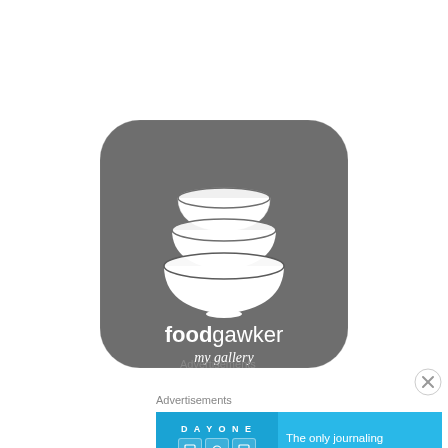[Figure (logo): Foodgawker app icon — dark grey rounded square with stacked bowls illustration and text 'foodgawker my gallery']
Advertisements
Advertisements
[Figure (screenshot): Day One journaling app advertisement banner — light blue background with 'DAY ONE' text, app icons, and text 'The only journaling app you'll ever need.']